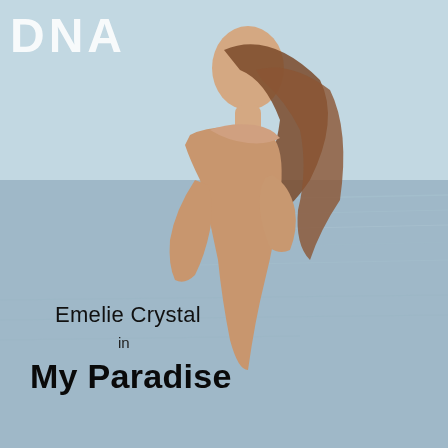[Figure (photo): Magazine cover photo of a young woman with long brown hair, posed in profile against a blurred ocean/water background. The image fills the entire page.]
DNA
Emelie Crystal
in
My Paradise